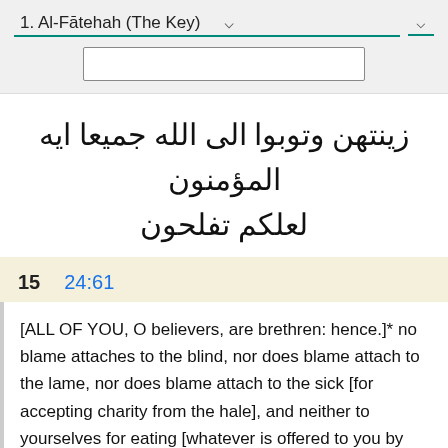1. Al-Fātehah (The Key)
زينتهن وتوبوا الى الله جميعا ايه المؤمنون لعلكم تفلحون
15    24:61
[ALL OF YOU, O believers, are brethren: hence.]* no blame attaches to the blind, nor does blame attach to the lame, nor does blame attach to the sick [for accepting charity from the hale], and neither to yourselves for eating [whatever is offered to you by others, whether it be food obtained] from your [children's] houses,* or your fathers' houses, or your mothers' houses, or your brothers' houses, or your sisters' houses, or your paternal uncles' houses, or your paternal aunts' houses